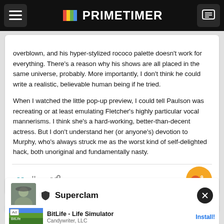PRIMETIMER
overblown, and his hyper-stylized rococo palette doesn't work for everything. There's a reason why his shows are all placed in the same universe, probably.  More importantly, I don't think he could write a realistic, believable human being if he tried.

When I watched the little pop-up preview, I could tell Paulson was recreating or at least emulating Fletcher's highly particular vocal mannerisms. I think she's a hard-working, better-than-decent actress. But I don't understand her (or anyone's) devotion to Murphy, who's always struck me as the worst kind of self-delighted hack, both unoriginal and fundamentally nasty.
[Figure (screenshot): Comment action bar with +99 upvote, quote, and share icons, and a heart reaction button showing 9]
[Figure (screenshot): User card showing Superclam username with shield icon and avatar]
[Figure (screenshot): Ad banner for BitLife - Life Simulator by Candywriter, LLC with Install button]